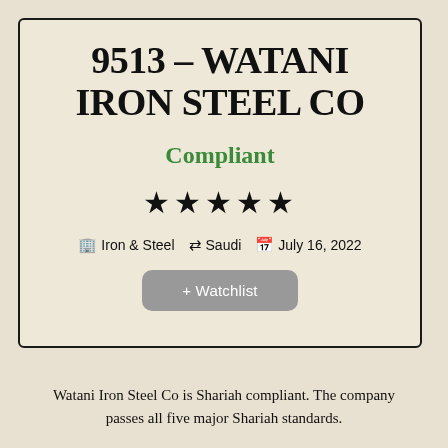9513 – WATANI IRON STEEL CO
Compliant
★★★★★
Iron & Steel  Saudi  July 16, 2022
+ Watchlist
Watani Iron Steel Co is Shariah compliant. The company passes all five major Shariah standards.